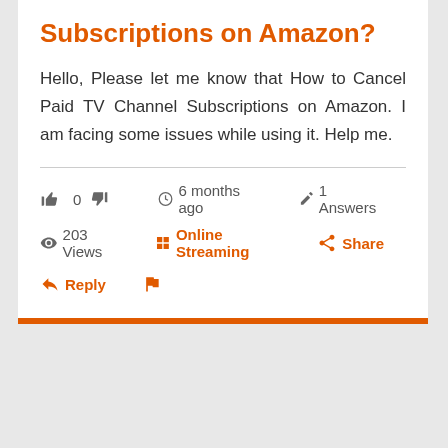Subscriptions on Amazon?
Hello, Please let me know that How to Cancel Paid TV Channel Subscriptions on Amazon. I am facing some issues while using it. Help me.
👍 0 👎   🕐 6 months ago   ✏ 1  Answers
👁 203 Views   ⊞ Online Streaming   ↩ Share
↩ Reply   🚩